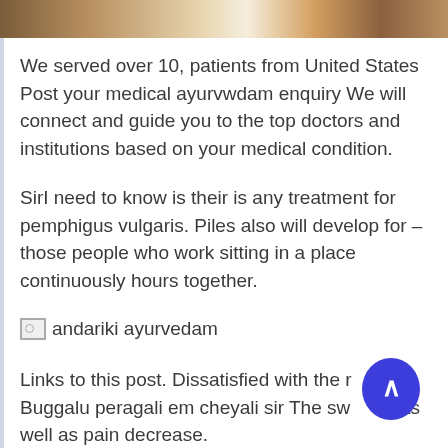[Figure (photo): Partial image at top of page showing what appears to be a person and some objects, cropped]
We served over 10, patients from United States Post your medical ayurvwdam enquiry We will connect and guide you to the top doctors and institutions based on your medical condition.
SirI need to know is their is any treatment for pemphigus vulgaris. Piles also will develop for – those people who work sitting in a place continuously hours together.
[Figure (other): Broken image placeholder with alt text 'andariki ayurvedam']
Links to this post. Dissatisfied with the results? Buggalu peragali em cheyali sir The swelling as well as pain decrease.